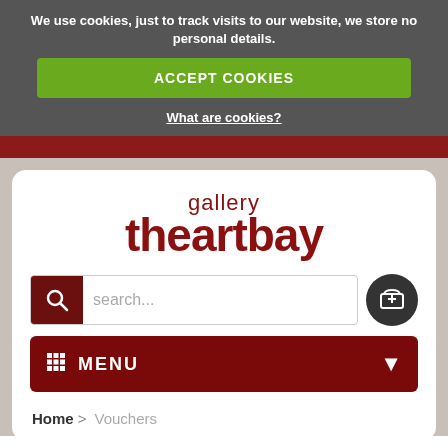We use cookies, just to track visits to our website, we store no personal details.
ACCEPT COOKIES
What are cookies?
[Figure (logo): The Artbay Gallery logo - text logo with 'gallery' above 'theartbay' in dark red]
search...
MENU
Home > Vouchers